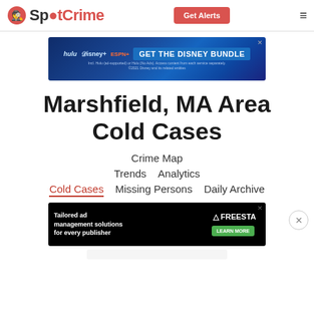SpotCrime | Get Alerts
[Figure (screenshot): Disney Bundle advertisement banner with Hulu, Disney+, ESPN+ logos]
Marshfield, MA Area Cold Cases
Crime Map
Trends   Analytics
Cold Cases   Missing Persons   Daily Archive
[Figure (screenshot): Freestar tailored ad management solutions advertisement banner]
[Figure (screenshot): Partial bottom advertisement banner]